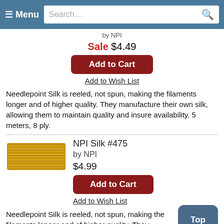Menu | Search...
by NPI
Sale $4.49
Add to Cart
Add to Wish List
Needlepoint Silk is reeled, not spun, making the filaments longer and of higher quality. They manufacture their own silk, allowing them to maintain quality and insure availability. 5 meters, 8 ply.
[Figure (photo): Golden yellow silk thread skein swatch]
NPI Silk #475 by NPI
$4.99
Add to Cart
Add to Wish List
Needlepoint Silk is reeled, not spun, making the filaments longer and of higher quality. They